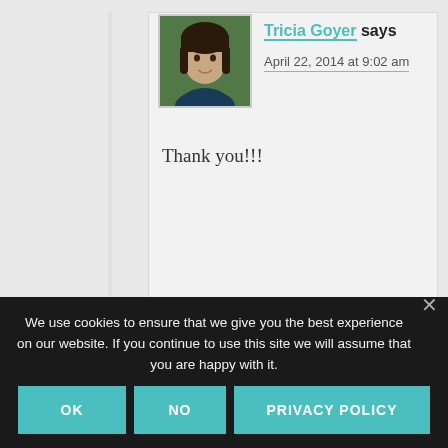[Figure (photo): Avatar photo of Tricia Goyer, a woman with dark hair against an outdoor background]
Tricia Goyer says
April 22, 2014 at 9:02 am
Thank you!!!
Reply
We use cookies to ensure that we give you the best experience on our website. If you continue to use this site we will assume that you are happy with it.
OK
NO
PRIVACY POLICY